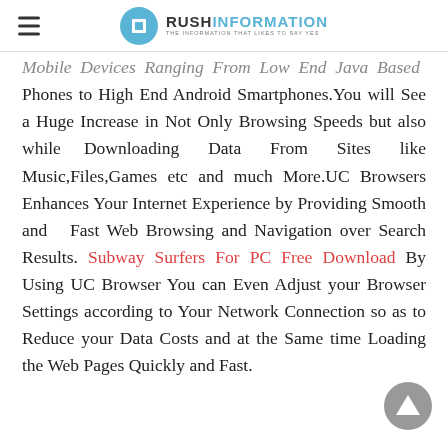RUSH INFORMATION — THE INFORMATION THAT LIKES TO SAY YES
Mobile Devices Ranging From Low End Java Based Phones to High End Android Smartphones.You will See a Huge Increase in Not Only Browsing Speeds but also while Downloading Data From Sites like Music,Files,Games etc and much More.UC Browsers Enhances Your Internet Experience by Providing Smooth and Fast Web Browsing and Navigation over Search Results. Subway Surfers For PC Free Download By Using UC Browser You can Even Adjust your Browser Settings according to Your Network Connection so as to Reduce your Data Costs and at the Same time Loading the Web Pages Quickly and Fast.